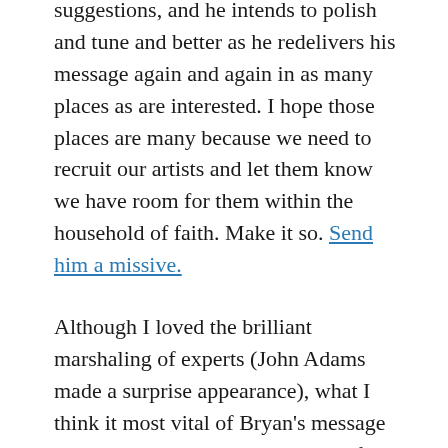suggestions, and he intends to polish and tune and better as he redelivers his message again and again in as many places as are interested. I hope those places are many because we need to recruit our artists and let them know we have room for them within the household of faith. Make it so. Send him a missive.
Although I loved the brilliant marshaling of experts (John Adams made a surprise appearance), what I think it most vital of Bryan's message and what most needs to be spread far and wide is the What Can I Do? portion of his presentation.
He offers six suggestions which I present now